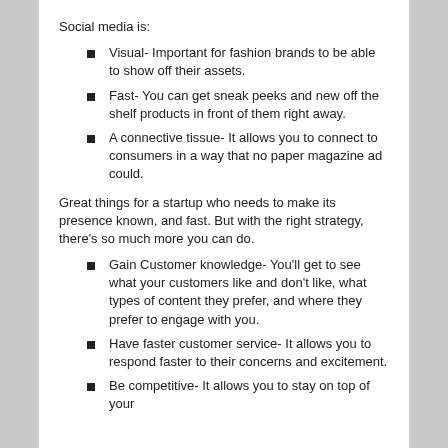Social media is:
Visual- Important for fashion brands to be able to show off their assets.
Fast- You can get sneak peeks and new off the shelf products in front of them right away.
A connective tissue- It allows you to connect to consumers in a way that no paper magazine ad could.
Great things for a startup who needs to make its presence known, and fast. But with the right strategy, there's so much more you can do.
Gain Customer knowledge- You'll get to see what your customers like and don't like, what types of content they prefer, and where they prefer to engage with you.
Have faster customer service- It allows you to respond faster to their concerns and excitement.
Be competitive- It allows you to stay on top of your